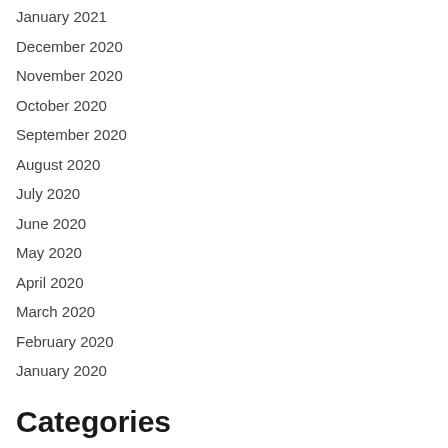January 2021
December 2020
November 2020
October 2020
September 2020
August 2020
July 2020
June 2020
May 2020
April 2020
March 2020
February 2020
January 2020
Categories
Betting
Casino